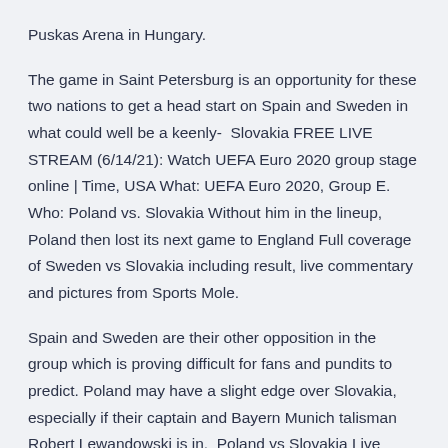Puskas Arena in Hungary.
The game in Saint Petersburg is an opportunity for these two nations to get a head start on Spain and Sweden in what could well be a keenly-  Slovakia FREE LIVE STREAM (6/14/21): Watch UEFA Euro 2020 group stage online | Time, USA What: UEFA Euro 2020, Group E. Who: Poland vs. Slovakia Without him in the lineup, Poland then lost its next game to England Full coverage of Sweden vs Slovakia including result, live commentary and pictures from Sports Mole.
Spain and Sweden are their other opposition in the group which is proving difficult for fans and pundits to predict. Poland may have a slight edge over Slovakia, especially if their captain and Bayern Munich talisman Robert Lewandowski is in.  Poland vs Slovakia Live